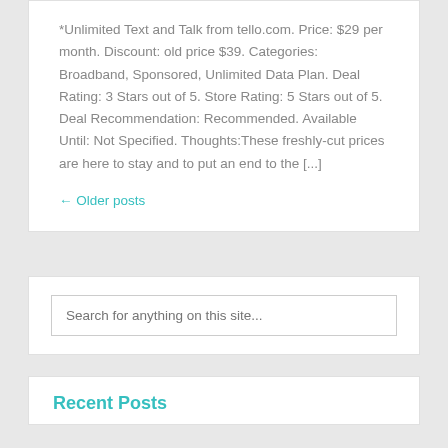*Unlimited Text and Talk from tello.com. Price: $29 per month. Discount: old price $39. Categories: Broadband, Sponsored, Unlimited Data Plan. Deal Rating: 3 Stars out of 5. Store Rating: 5 Stars out of 5. Deal Recommendation: Recommended. Available Until: Not Specified. Thoughts:These freshly-cut prices are here to stay and to put an end to the [...]
← Older posts
Search for anything on this site...
Recent Posts